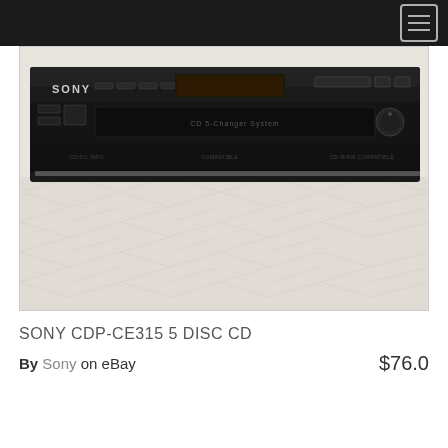[Figure (photo): Sony CDP-CE315 5-disc CD changer, black, sitting on a white quilted mattress or bedcover. The unit shows the Sony logo on the front left, disc tray in the center, and various buttons and controls on the front panel.]
SONY CDP-CE315 5 DISC CD
By Sony on eBay  $76.0